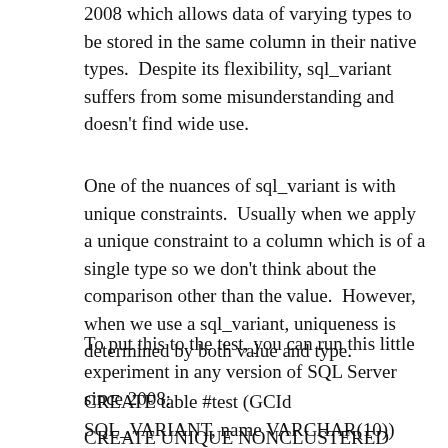2008 which allows data of varying types to be stored in the same column in their native types.  Despite its flexibility, sql_variant suffers from some misunderstanding and doesn't find wide use.
One of the nuances of sql_variant is with unique constraints.  Usually when we apply a unique constraint to a column which is of a single type so we don't think about the comparison other than the value.  However, when we use a sql_variant, uniqueness is determined by both value and type.
To put this to the test, you can run this little experiment in any version of SQL Server since 2008:
CREATE table #test (GCId SQL_VARIANT, name VARCHAR(10))
CREATE UNIQUE NONCLUSTERED INDEX [UK_test ] ON#